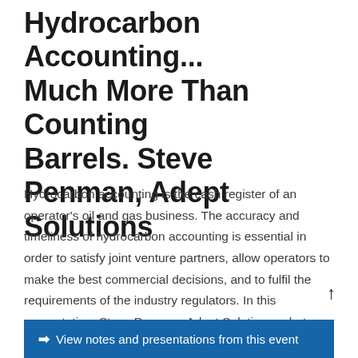Hydrocarbon Accounting... Much More Than Counting Barrels. Steve Penman, Adept Solutions
Hydrocarbon accounting is the cash register of an operator's oil and gas business. The accuracy and timeliness of hydrocarbon accounting is essential in order to satisfy joint venture partners, allow operators to make the best commercial decisions, and to fulfil the requirements of the industry regulators. In this presentation, Steve Penman, Adept Solutions, what Hydrocarbon Accounting is, what is required in order to manage it successfully and common areas where things can go wrong.
↑
➡ View notes and presentations from this event